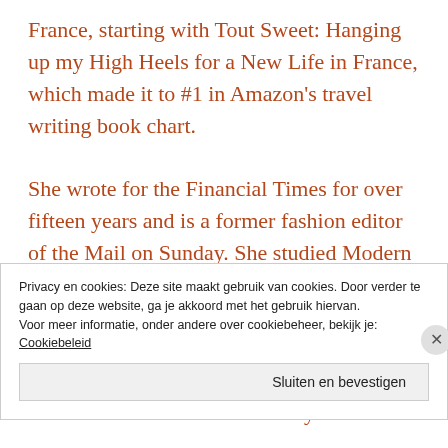France, starting with Tout Sweet: Hanging up my High Heels for a New Life in France, which made it to #1 in Amazon's travel writing book chart.

She wrote for the Financial Times for over fifteen years and is a former fashion editor of the Mail on Sunday. She studied Modern History at Kings College, London University and worked briefly at Sotheby's art auctioneers before embarking on a career in fashion journalism. During her career she has interviewed many
Privacy en cookies: Deze site maakt gebruik van cookies. Door verder te gaan op deze website, ga je akkoord met het gebruik hiervan.
Voor meer informatie, onder andere over cookiebeheer, bekijk je:
Cookiebeleid
Sluiten en bevestigen